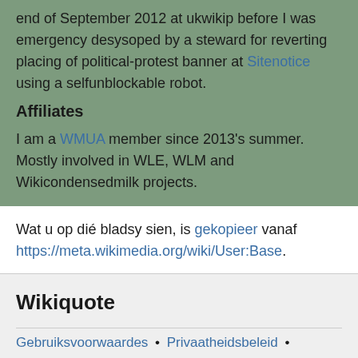end of September 2012 at ukwikip before I was emergency desysoped by a steward for reverting placing of political-protest banner at Sitenotice using a selfunblockable robot.
Affiliates
I am a WMUA member since 2013's summer. Mostly involved in WLE, WLM and Wikicondensedmilk projects.
Wat u op dié bladsy sien, is gekopieer vanaf https://meta.wikimedia.org/wiki/User:Base.
Wikiquote
Gebruiksvoorwaardes • Privaatheidsbeleid • Rekenaarweergawe